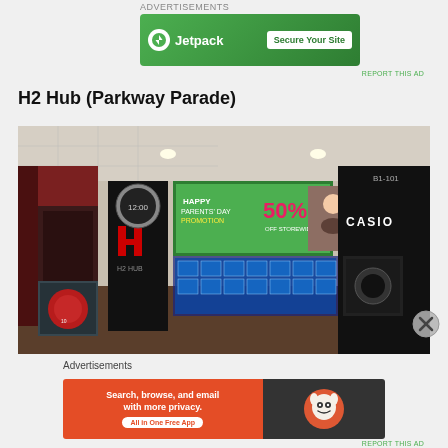Advertisements
[Figure (screenshot): Jetpack advertisement banner: green background with Jetpack logo and 'Secure Your Site' button]
REPORT THIS AD
H2 Hub (Parkway Parade)
[Figure (photo): Interior photo of H2 Hub watch store at Parkway Parade B1-101, showing watch display cases and CASIO branding, with a Happy Parents' Day promotion banner showing 50% off]
Advertisements
[Figure (screenshot): DuckDuckGo advertisement: orange background with text 'Search, browse, and email with more privacy. All in One Free App' and DuckDuckGo logo on dark background]
REPORT THIS AD